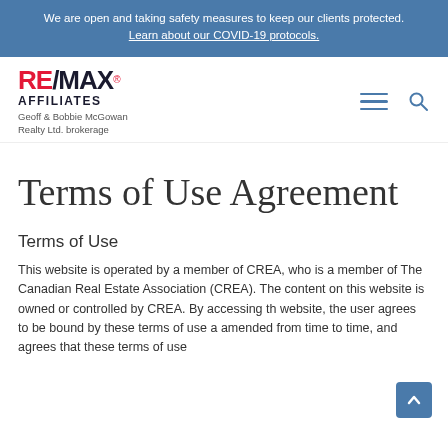We are open and taking safety measures to keep our clients protected. Learn about our COVID-19 protocols.
[Figure (logo): RE/MAX Affiliates logo with text: RE/MAX Affiliates, Geoff & Bobbie McGowan Realty Ltd. brokerage]
Terms of Use Agreement
Terms of Use
This website is operated by a member of CREA, who is a member of The Canadian Real Estate Association (CREA). The content on this website is owned or controlled by CREA. By accessing this website, the user agrees to be bound by these terms of use as amended from time to time, and agrees that these terms of use